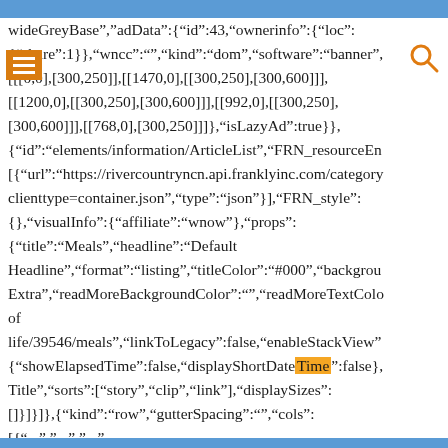wideGreyBase","adData":{"id":43,"ownerinfo":{"loc": {"share":1}},"wncc":"","kind":"dom","software":"banner", [[[0,0],[300,250]],[[1470,0],[[300,250],[300,600]]], [[1200,0],[[300,250],[300,600]]],[[992,0],[[300,250], [300,600]]],[[768,0],[300,250]]]},"isLazyAd":true}}, {"id":"elements/information/ArticleList","FRN_resourceEn [{ "url":"https://rivercountryncn.api.franklyinc.com/category clienttype=container.json","type":"json"}],"FRN_style": {},"visualInfo":{"affiliate":"wnow"},"props": {"title":"Meals","headline":"Default Headline","format":"listing","titleColor":"#000","backgrou Extra","readMoreBackgroundColor":"","readMoreTextColo of life/39546/meals","linkToLegacy":false,"enableStackView" {"showElapsedTime":false,"displayShortDateTime":false}, Title","sorts":["story","clip","link"],"displaySizes": []}]}]},{"kind":"row","gutterSpacing":"","cols": [{"...